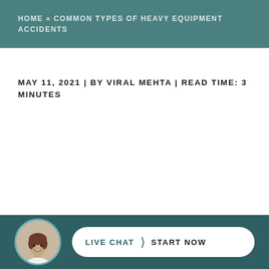HOME » COMMON TYPES OF HEAVY EQUIPMENT ACCIDENTS
MAY 11, 2021 | BY VIRAL MEHTA | READ TIME: 3 MINUTES
[Figure (other): Live chat footer bar with avatar photo of smiling woman and a button reading LIVE CHAT > START NOW on teal background]